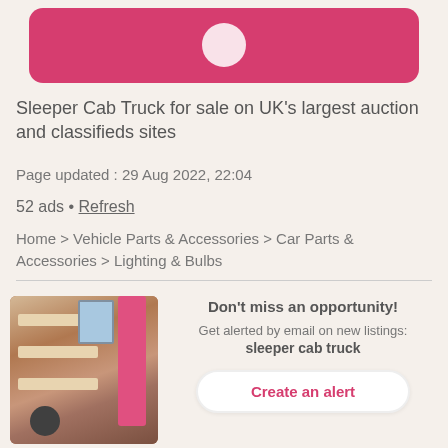[Figure (screenshot): Pink rounded rectangle banner at top with white circle icon]
Sleeper Cab Truck for sale on UK’s largest auction and classifieds sites
Page updated : 29 Aug 2022, 22:04
52 ads • Refresh
Home > Vehicle Parts & Accessories > Car Parts & Accessories > Lighting & Bulbs
[Figure (photo): Photo of a bunk bed with pink accents and shelving in a room]
Don't miss an opportunity! Get alerted by email on new listings: sleeper cab truck
Create an alert